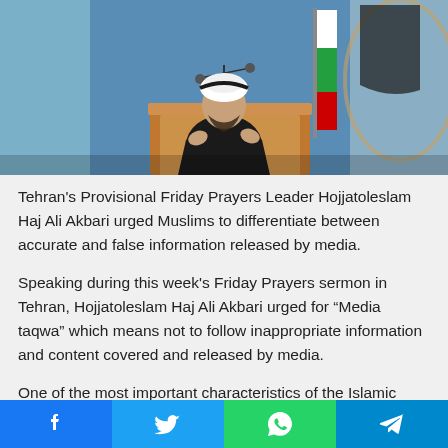[Figure (photo): A cleric in black robe and white turban speaking at a podium in a mosque decorated with Islamic tilework and geometric patterns. An Iranian flag is visible in the background.]
Tehran's Provisional Friday Prayers Leader Hojjatoleslam Haj Ali Akbari urged Muslims to differentiate between accurate and false information released by media.
Speaking during this week's Friday Prayers sermon in Tehran, Hojjatoleslam Haj Ali Akbari urged for “Media taqwa” which means not to follow inappropriate information and content covered and released by media.
One of the most important characteristics of the Islamic society